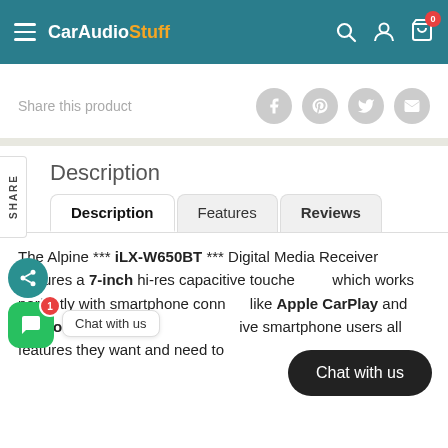CarAudioStuff — navigation header with hamburger menu, logo, search, account, and cart icons
Share this product
Description
Description | Features | Reviews (tabs)
Chat with us
The Alpine *** iLX-W650BT *** Digital Media Receiver features a 7-inch hi-res capacitive touchscreen, which works perfectly with smartphone connectivity like Apple CarPlay and Android Auto. It is designed to give smartphone users all features they want and need to